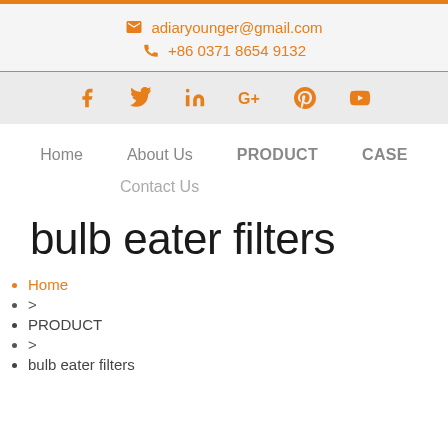adiaryounger@gmail.com  +86 0371 8654 9132
[Figure (illustration): Social media icons row: Facebook, Twitter, LinkedIn, Google+, Pinterest, YouTube in orange]
Home   About Us   PRODUCT   CASE
Contact Us
bulb eater filters
Home
>
PRODUCT
>
bulb eater filters